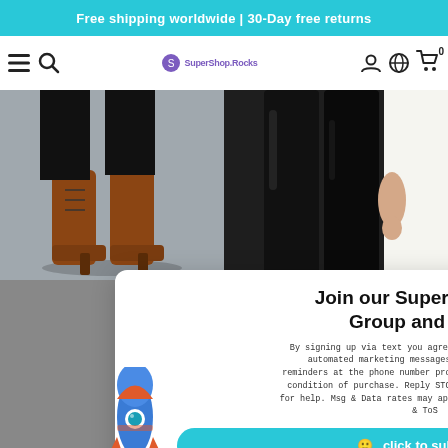Free shipping worldwide | 30-Day free returns
[Figure (screenshot): Navigation bar with hamburger menu, search icon, SuperShop.Rocks logo, account icon, globe icon, and cart icon with 0 badge]
[Figure (photo): Two product photos side by side: left shows brown ankle boots on gray background, right shows black leather pants on dark background]
Join our Super Discount Group and Save!
By signing up via text you agree to receive recurring automated marketing messages and shopping cart reminders at the phone number provided. Consent is not a condition of purchase. Reply STOP to unsubscribe. HELP for help. Msg & Data rates may apply. View Privacy Policy & ToS
click to subscribe